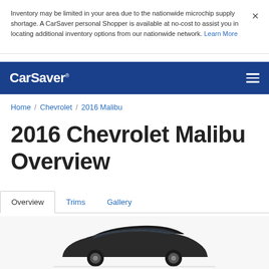Inventory may be limited in your area due to the nationwide microchip supply shortage. A CarSaver personal Shopper is available at no-cost to assist you in locating additional inventory options from our nationwide network. Learn More
CarSaver
Home / Chevrolet / 2016 Malibu
2016 Chevrolet Malibu Overview
Overview  Trims  Gallery
[Figure (photo): Partial view of a dark-colored 2016 Chevrolet Malibu sedan, cropped at the bottom of the page]